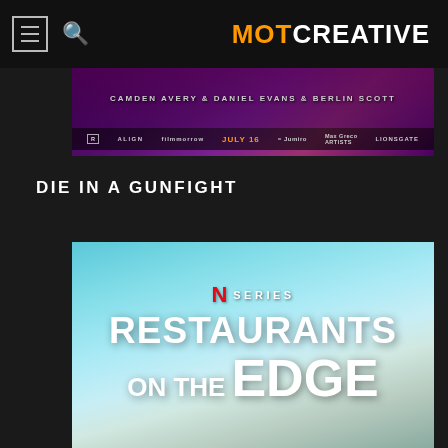MOTCREATIVE
[Figure (photo): Movie banner for Die in a Gunfight showing dark purple background with cast names, rating R, studios ALIGN, Lionsgate, and release date JULY 16]
DIE IN A GUNFIGHT
[Figure (photo): Netflix Series promotional poster for Restaurants on the Edge showing sky background with Netflix N logo and series title text]